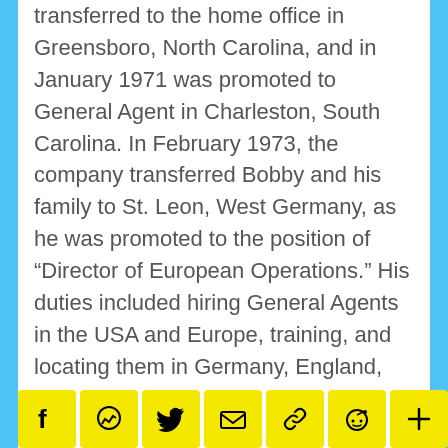transferred to the home office in Greensboro, North Carolina, and in January 1971 was promoted to General Agent in Charleston, South Carolina. In February 1973, the company transferred Bobby and his family to St. Leon, West Germany, as he was promoted to the position of "Director of European Operations." His duties included hiring General Agents in the USA and Europe, training, and locating them in Germany, England, Spain, Scotland, [...]1979.
[Figure (other): Social sharing toolbar with icons for Facebook, Messenger, Twitter, Email, Link, Reddit, Share, and a blurred/redacted box]